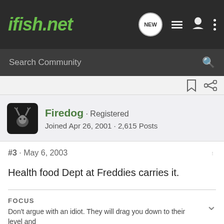ifish.net
Search Community
Firedog · Registered
Joined Apr 26, 2001 · 2,615 Posts
#3 · May 6, 2003
Health food Dept at Freddies carries it.
FOCUS
Don't argue with an idiot. They will drag you down to their level and